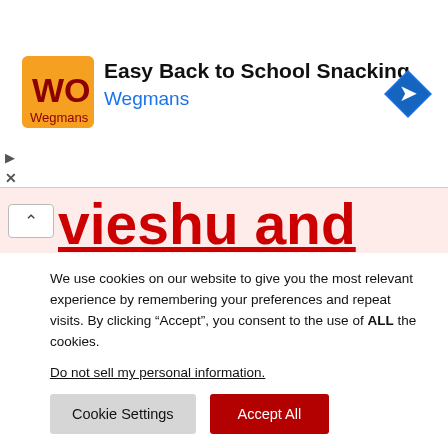[Figure (other): Wegmans advertisement banner with logo (yellow/orange background with 'WF' text), title 'Easy Back to School Snacking', subtitle 'Wegmans' in blue, and a blue navigation arrow icon on the right. Play and X icons on the far left.]
vieshu and his mistakes
We use cookies on our website to give you the most relevant experience by remembering your preferences and repeat visits. By clicking “Accept”, you consent to the use of ALL the cookies.
Do not sell my personal information.
Cookie Settings   Accept All